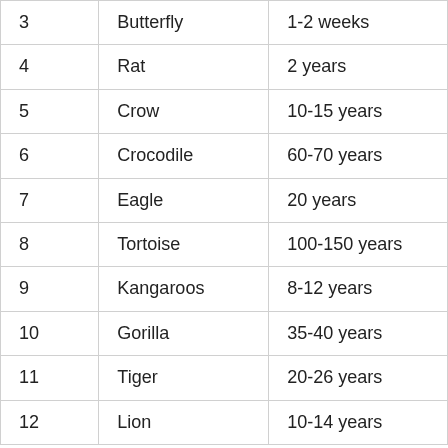| 3 | Butterfly | 1-2 weeks |
| 4 | Rat | 2 years |
| 5 | Crow | 10-15 years |
| 6 | Crocodile | 60-70 years |
| 7 | Eagle | 20 years |
| 8 | Tortoise | 100-150 years |
| 9 | Kangaroos | 8-12 years |
| 10 | Gorilla | 35-40 years |
| 11 | Tiger | 20-26 years |
| 12 | Lion | 10-14 years |